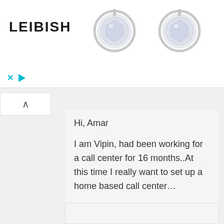[Figure (photo): Leibish jewelry advertisement banner showing two round diamond stud earrings in silver/platinum bezel settings on a white background, with the LEIBISH logo on the left. Blue X and play button controls at the bottom left.]
Hi, Amar
I am Vipin, had been working for a call center for 16 months..At this time I really want to set up a home based call center…
Please provide me the required information……
Reply